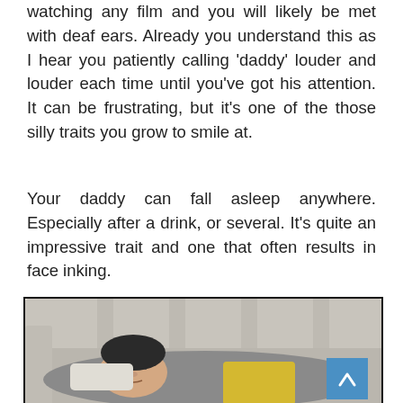watching any film and you will likely be met with deaf ears. Already you understand this as I hear you patiently calling 'daddy' louder and louder each time until you've got his attention. It can be frustrating, but it's one of the those silly traits you grow to smile at.
Your daddy can fall asleep anywhere. Especially after a drink, or several. It's quite an impressive trait and one that often results in face inking.
[Figure (photo): Photo of a person sleeping on a sofa/couch, lying down with eyes closed, wearing grey top. A yellow garment is visible. There is a blue scroll-up button in the bottom right corner of the image.]